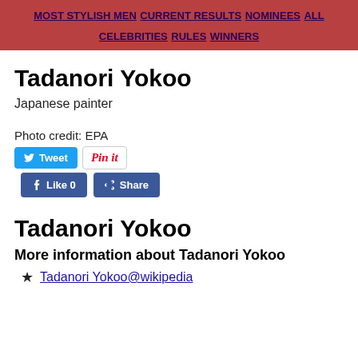MOST STYLISH MEN | CURRENT RESULTS | NOMINEES | ALL CELEBRITIES | RULES | WINNERS
Tadanori Yokoo
Japanese painter
Photo credit: EPA
[Figure (other): Social media buttons: Tweet (Twitter), Pin it (Pinterest), Like 0 (Facebook), Share (Facebook)]
Tadanori Yokoo
More information about Tadanori Yokoo
Tadanori Yokoo@wikipedia